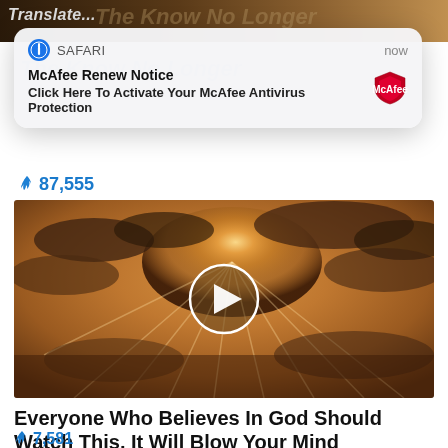[Figure (screenshot): Top image strip showing partial article background with 'Translate' text visible]
[Figure (screenshot): Safari browser push notification popup showing McAfee Renew Notice: 'Click Here To Activate Your McAfee Antivirus Protection' with McAfee shield logo, timestamped 'now']
🔥 87,555
[Figure (screenshot): Video thumbnail showing dramatic sunlight rays through clouds with a circular play button overlay]
Everyone Who Believes In God Should Watch This. It Will Blow Your Mind
🔥 7,581